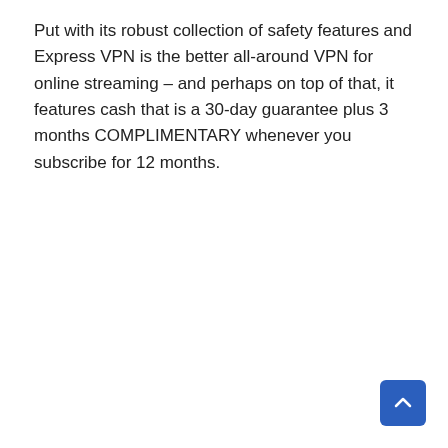Put with its robust collection of safety features and Express VPN is the better all-around VPN for online streaming – and perhaps on top of that, it features cash that is a 30-day guarantee plus 3 months COMPLIMENTARY whenever you subscribe for 12 months.
[Figure (other): Back to top button — a blue rounded square with a white upward arrow icon in the bottom-right corner of the page.]